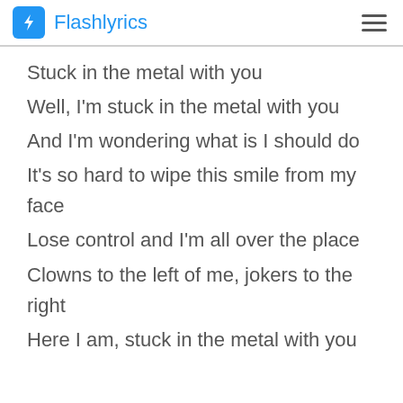Flashlyrics
Stuck in the metal with you
Well, I'm stuck in the metal with you
And I'm wondering what is I should do
It's so hard to wipe this smile from my face
Lose control and I'm all over the place
Clowns to the left of me, jokers to the right
Here I am, stuck in the metal with you